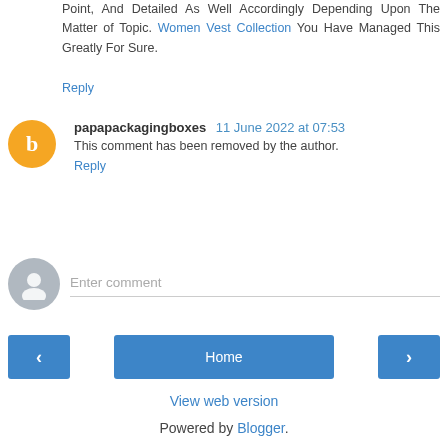Point, And Detailed As Well Accordingly Depending Upon The Matter of Topic. Women Vest Collection You Have Managed This Greatly For Sure.
Reply
papapackagingboxes 11 June 2022 at 07:53
This comment has been removed by the author.
Reply
Enter comment
Home
View web version
Powered by Blogger.